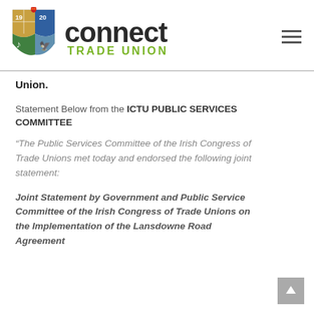[Figure (logo): Connect Trade Union logo with shield emblem showing 1920, and 'connect TRADE UNION' text in dark and green]
Union.
Statement Below from the ICTU PUBLIC SERVICES COMMITTEE
“The Public Services Committee of the Irish Congress of Trade Unions met today and endorsed the following joint statement:
Joint Statement by Government and Public Service Committee of the Irish Congress of Trade Unions on the Implementation of the Lansdowne Road Agreement